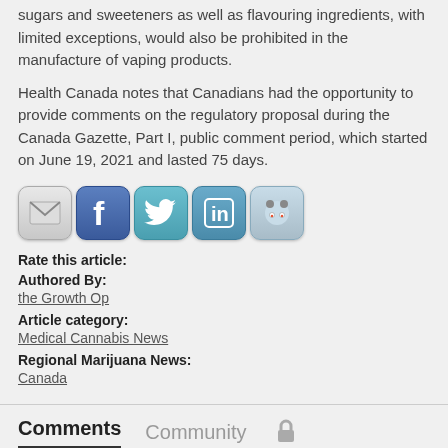sugars and sweeteners as well as flavouring ingredients, with limited exceptions, would also be prohibited in the manufacture of vaping products.
Health Canada notes that Canadians had the opportunity to provide comments on the regulatory proposal during the Canada Gazette, Part I, public comment period, which started on June 19, 2021 and lasted 75 days.
[Figure (infographic): Row of five social media sharing icons: email/envelope, Facebook, Twitter, LinkedIn, Reddit]
Rate this article:
Authored By:
the Growth Op
Article category:
Medical Cannabis News
Regional Marijuana News:
Canada
Comments   Community   🔒
1  Login ▾